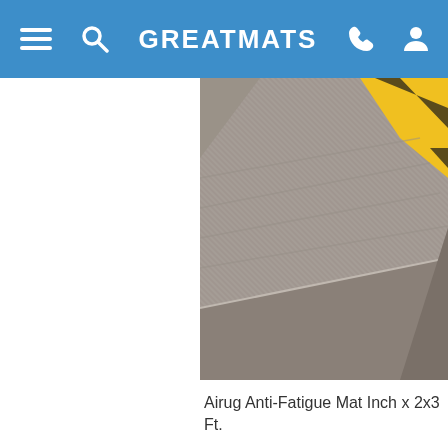GREATMATS
[Figure (photo): Close-up of a gray anti-fatigue mat with yellow corner edge trim, showing textured surface and beveled edges from a top-down angle.]
Airug Anti-Fatigue Mat Inch x 2x3 Ft.
$16.96 /Mat (You Save 9
$2.83/sqft
✓ Ships Out in 7-10 Working Da
✓ Ships from South East
[Figure (photo): Partial view of another anti-fatigue mat showing gray textured surface with yellow diagonal striped edge trim at top.]